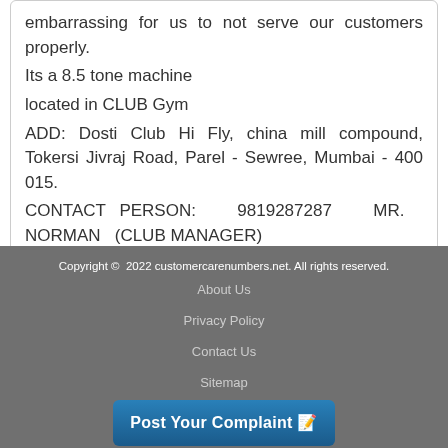embarrassing for us to not serve our customers properly.
Its a 8.5 tone machine
located in CLUB Gym
ADD: Dosti Club Hi Fly, china mill compound, Tokersi Jivraj Road, Parel - Sewree, Mumbai - 400 015.
CONTACT PERSON: 9819287287 MR. NORMAN (CLUB MANAGER)
9619308832 MR. MANOJ Kumar YADAV
Reply
Copyright © 2022 customercarenumbers.net. All rights reserved.
About Us
Privacy Policy
Contact Us
Sitemap